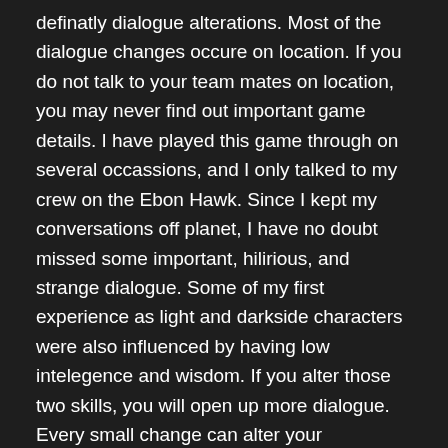definatly dialogue alterations. Most of the dialogue changes occure on location. If you do not talk to your team mates on location, you may never find out important game details. I have played this game through on several occassions, and I only talked to my crew on the Ebon Hawk. Since I kept my conversations off planet, I have no doubt missed some important, hilirious, and strange dialogue. Some of my first experience as light and darkside characters were also influenced by having low intelegence and wisdom. If you alter those two skills, you will open up more dialogue. Every small change can alter your experience, and many cutscenes can be missed.